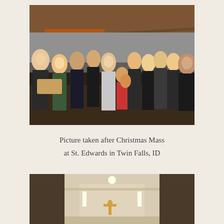[Figure (photo): Group photo of approximately 15 people posing together indoors, appearing to be taken inside a restaurant or gathering space with a sloped wooden ceiling. Several adults and at least one child are visible, smiling at the camera.]
Picture taken after Christmas Mass at St. Edwards in Twin Falls, ID
[Figure (photo): Interior of a church showing a corridor or entrance area with cream/beige walls, recessed lighting, and a gold crucifix mounted on the back wall.]